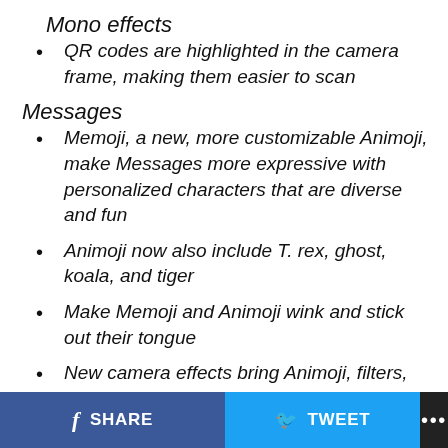Mono effects
QR codes are highlighted in the camera frame, making them easier to scan
Messages
Memoji, a new, more customizable Animoji, make Messages more expressive with personalized characters that are diverse and fun
Animoji now also include T. rex, ghost, koala, and tiger
Make Memoji and Animoji wink and stick out their tongue
New camera effects bring Animoji, filters,
SHARE   TWEET   ...